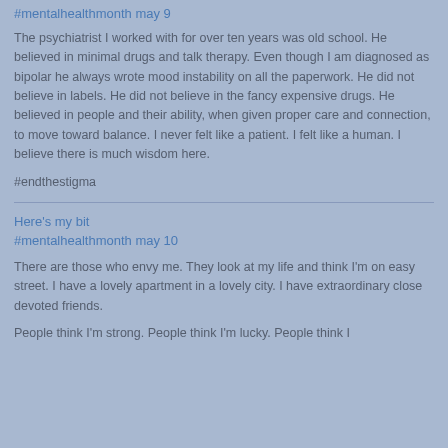#mentalhealthmonth may 9
The psychiatrist I worked with for over ten years was old school. He believed in minimal drugs and talk therapy. Even though I am diagnosed as bipolar he always wrote mood instability on all the paperwork. He did not believe in labels. He did not believe in the fancy expensive drugs. He believed in people and their ability, when given proper care and connection, to move toward balance. I never felt like a patient. I felt like a human. I believe there is much wisdom here.
#endthestigma
Here's my bit
#mentalhealthmonth may 10
There are those who envy me. They look at my life and think I'm on easy street. I have a lovely apartment in a lovely city. I have extraordinary close devoted friends.
People think I'm strong. People think I'm lucky. People think I